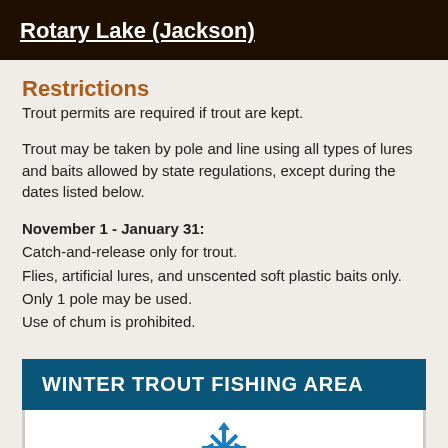Rotary Lake (Jackson)
Restrictions
Trout permits are required if trout are kept.
Trout may be taken by pole and line using all types of lures and baits allowed by state regulations, except during the dates listed below.
November 1 - January 31:
Catch-and-release only for trout.
Flies, artificial lures, and unscented soft plastic baits only.
Only 1 pole may be used.
Use of chum is prohibited.
WINTER TROUT FISHING AREA
[Figure (illustration): Partial snowflake icon in blue color at the bottom of the page]